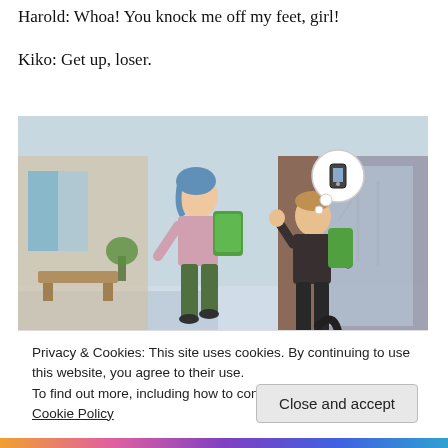Harold: Whoa! You knock me off my feet, girl!
Kiko: Get up, loser.
[Figure (screenshot): A screenshot from The Sims showing two teen characters with backpacks outside a school building in winter. One character has blue hair and a pink sweater with green backpack, the other is a boy in dark jacket with green backpack who appears to be running into the building. A thought bubble above him shows a phone. Snowy background with bare trees.]
Privacy & Cookies: This site uses cookies. By continuing to use this website, you agree to their use.
To find out more, including how to control cookies, see here: Cookie Policy
Close and accept